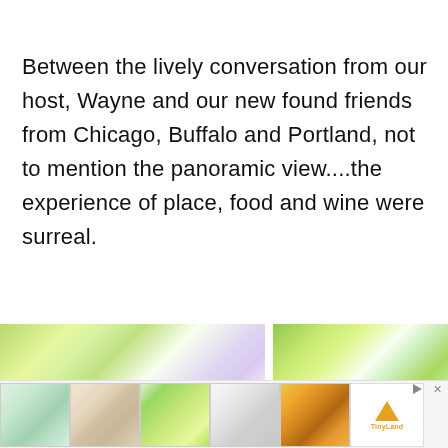Between the lively conversation from our host, Wayne and our new found friends from Chicago, Buffalo and Portland, not to mention the panoramic view....the experience of place, food and wine were surreal.
[Figure (photo): Two blurred bokeh-style outdoor photos side by side: left photo shows green and purple bokeh lights; right photo shows green and yellow bokeh lights]
[Figure (photo): Advertisement bar with thumbnail images of toys and crafts: wooden train track set, colorful wooden toys, chalkboard easel, teepee tent, flower wreath, and a brand logo (TinyLand)]